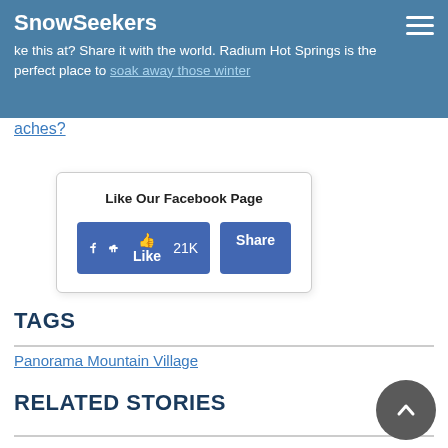ke this at? Share it with the world. Radium Hot Springs is the perfect place to soak away those winter aches?
aches?
[Figure (other): Facebook Like widget with Like (21K) and Share buttons]
TAGS
Panorama Mountain Village
RELATED STORIES